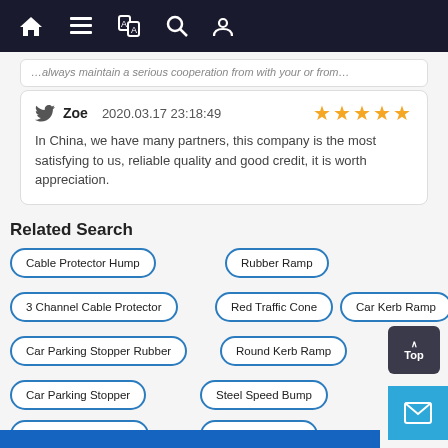Navigation bar with home, menu, translate, search, and user icons
…always maintain a serious cooperation from with your or from…
Zoe 2020.03.17 23:18:49 ★★★★★ In China, we have many partners, this company is the most satisfying to us, reliable quality and good credit, it is worth appreciation.
Related Search
Cable Protector Hump
Rubber Ramp
3 Channel Cable Protector
Red Traffic Cone
Car Kerb Ramp
Car Parking Stopper Rubber
Round Kerb Ramp
Car Parking Stopper
Steel Speed Bump
Rubber Speed Bump
Pvc Safety Cone